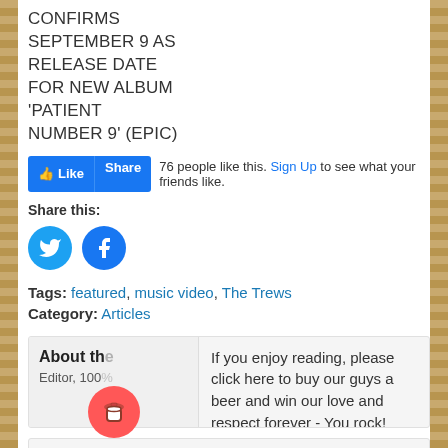CONFIRMS SEPTEMBER 9 AS RELEASE DATE FOR NEW ALBUM 'PATIENT NUMBER 9' (EPIC)
[Figure (screenshot): Facebook Like and Share buttons with '76 people like this. Sign Up to see what your friends like.']
Share this:
[Figure (screenshot): Twitter and Facebook circular share icons]
Tags: featured, music video, The Trews
Category: Articles
About the
Editor, 100%
If you enjoy reading, please click here to buy our guys a beer and win our love and respect forever - You rock!
Subscribe